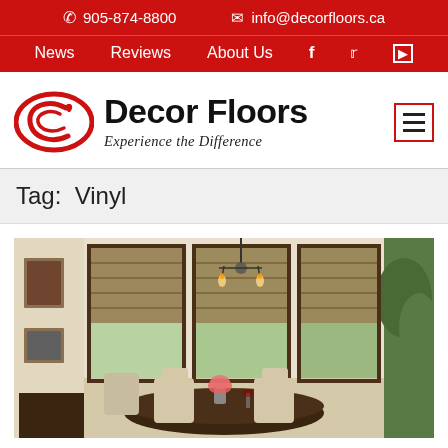905-874-8800   info@decorfloors.ca
News   Reviews   About Us
[Figure (logo): Decor Floors logo with red oval/ellipse graphic and tagline 'Experience the Difference']
Tag: Vinyl
[Figure (photo): Interior dining room photo with woven bamboo roman shades on large windows, chandelier, dining table with chairs, flowers and greenery]